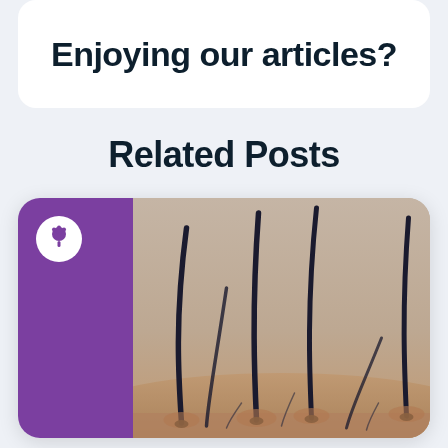Enjoying our articles?
Related Posts
[Figure (photo): Close-up 3D render of hair follicles emerging from skin surface, showing dark hair shafts rooted in skin, with a purple branded panel on the left featuring a white tree/health logo icon]